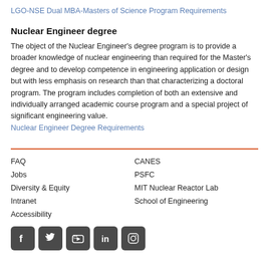LGO-NSE Dual MBA-Masters of Science Program Requirements
Nuclear Engineer degree
The object of the Nuclear Engineer's degree program is to provide a broader knowledge of nuclear engineering than required for the Master's degree and to develop competence in engineering application or design but with less emphasis on research than that characterizing a doctoral program. The program includes completion of both an extensive and individually arranged academic course program and a special project of significant engineering value.
Nuclear Engineer Degree Requirements
FAQ
Jobs
Diversity & Equity
Intranet
Accessibility
CANES
PSFC
MIT Nuclear Reactor Lab
School of Engineering
[Figure (illustration): Social media icons: Facebook, Twitter, YouTube, LinkedIn, Instagram on dark rounded square backgrounds]